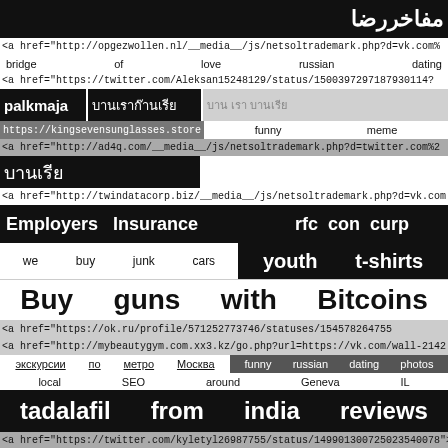رضا   مفاخر
<a href="http://opgezwollen.nl/__media__/js/netsoltrademark.php?d=vk.com%
bridge   of   love   russian   dating
<a href="https://twitter.com/Aleksan15248129/status/150039729718793011477
palkmaja   [Thai script]   [Thai script light]
https://kingsevensunglasses.store   funny   meme
<a href="http://ad4q.com/__media__/js/netsoltrademark.php?d=twitter.com%2
[Thai block]
<a href="http://twindatacorp.biz/__media__/js/netsoltrademark.php?d=vk.com
Employers   Insurance   rfc   con   curp
we   buy   junk   cars   youth   t-shirts
Buy   guns   with   Bitcoins
<a href="https://ok.ru/profile/571252773746/statuses/154578264755
<a href="http://mybeautygym.com.xx3.kz/go.php?url=https://vk.com/wall-2142
экскурсии по метро Москва   funny russian dating photos
local   SEO   around   Geneva   IL
tadalafil   from   india   reviews
<a href="https://twitter.com/kyletyl26987755/status/149901300725023540078">
<a href="https://twitter.com/Mahirn30/status/14992390826180771878
does   kroger   hire   felons
magicien   anniversaire   paris   ironblow.bplaced.net
wob   scraping   process